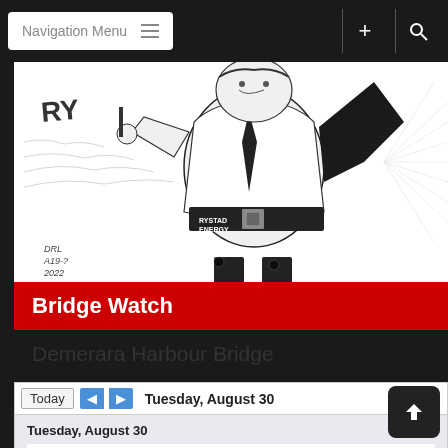Navigation Menu
[Figure (illustration): Black and white cartoon illustration of a figure wearing a belt labeled 'RYSTAD ENERGY', holding objects, with 'RY' text visible. Signed 'DRL A19-? 2022'.]
Bridge Watch
Demerara Harbour Bridge
Today  Tuesday, August 30
| Day | Time | Event |
| --- | --- | --- |
| Tuesday, August 30 |  |  |
| 4:00am | 04:00 |  |
| Wednesday, August 31 |  |  |